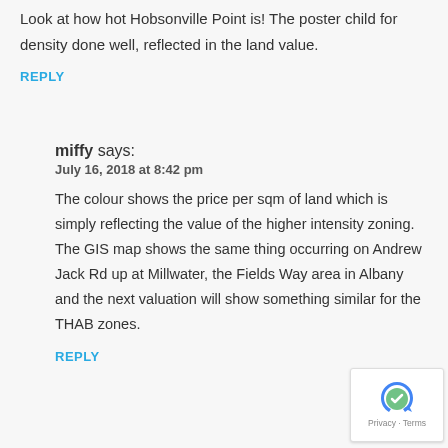Look at how hot Hobsonville Point is! The poster child for density done well, reflected in the land value.
REPLY
miffy says:
July 16, 2018 at 8:42 pm
The colour shows the price per sqm of land which is simply reflecting the value of the higher intensity zoning. The GIS map shows the same thing occurring on Andrew Jack Rd up at Millwater, the Fields Way area in Albany and the next valuation will show something similar for the THAB zones.
REPLY